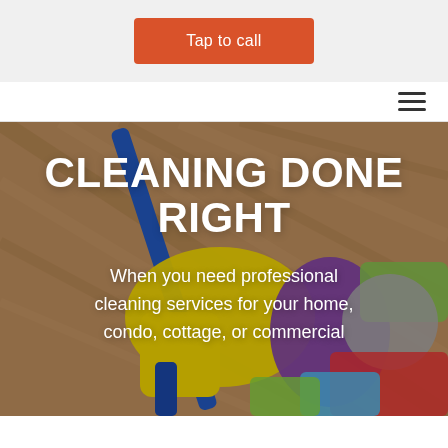[Figure (other): Orange 'Tap to call' button on a light gray background bar at the top of the page]
[Figure (other): Navigation bar with hamburger menu icon (three horizontal lines) aligned to the right]
[Figure (photo): Hero image of cleaning supplies including yellow rubber gloves, purple gloves, colorful sponges and cloths on a wooden floor with a blue mop handle, overlaid with bold white text 'CLEANING DONE RIGHT' and subtitle text]
CLEANING DONE RIGHT
When you need professional cleaning services for your home, condo, cottage, or commercial